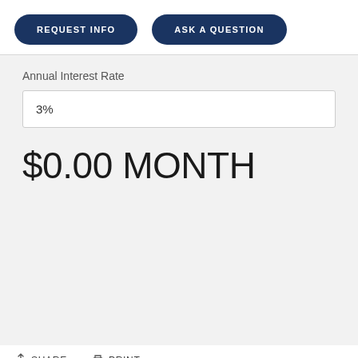REQUEST INFO
ASK A QUESTION
Annual Interest Rate
3%
$0.00 MONTH
SHARE   PRINT